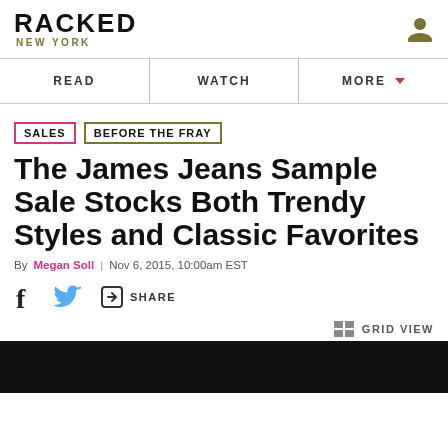RACKED NEW YORK
READ | WATCH | MORE
SALES  BEFORE THE FRAY
The James Jeans Sample Sale Stocks Both Trendy Styles and Classic Favorites
By Megan Soll | Nov 6, 2015, 10:00am EST
SHARE
GRID VIEW
[Figure (photo): Black image strip at bottom of article page]